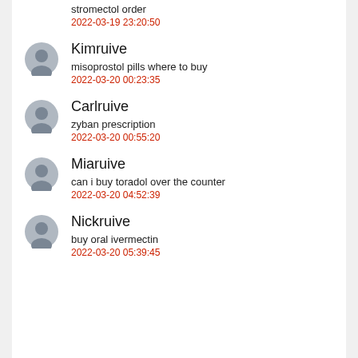stromectol order
2022-03-19 23:20:50
Kimruive
misoprostol pills where to buy
2022-03-20 00:23:35
Carlruive
zyban prescription
2022-03-20 00:55:20
Miaruive
can i buy toradol over the counter
2022-03-20 04:52:39
Nickruive
buy oral ivermectin
2022-03-20 05:39:45